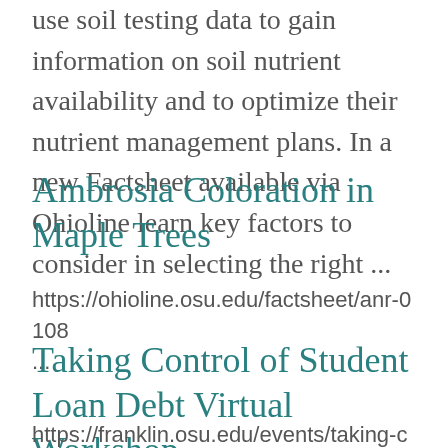use soil testing data to gain information on soil nutrient availability and to optimize their nutrient management plans. In a new Factsheet available via Ohioline learn key factors to consider in selecting the right ...
Ambrosia Coloration in Maple Trees
https://ohioline.osu.edu/factsheet/anr-0108 ...
Taking Control of Student Loan Debt Virtual Workshop
https://franklin.osu.edu/events/taking-control-student-loan-debt-virtual-workshop-29